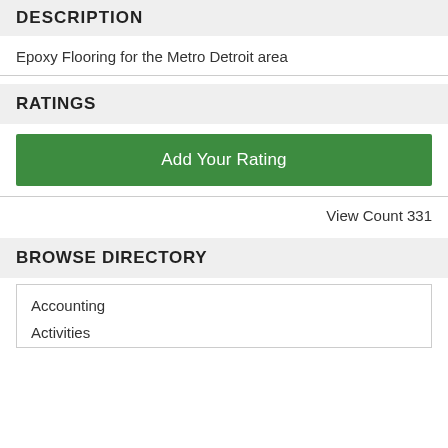DESCRIPTION
Epoxy Flooring for the Metro Detroit area
RATINGS
Add Your Rating
View Count 331
BROWSE DIRECTORY
Accounting
Activities